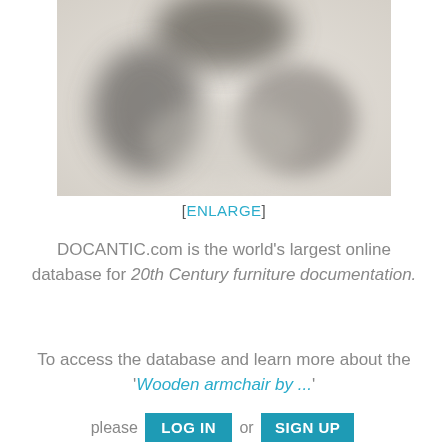[Figure (photo): Blurred/out-of-focus photograph of what appears to be a wooden armchair, rendered in grayscale tones on a light beige/cream background.]
[ENLARGE]
DOCANTIC.com is the world's largest online database for 20th Century furniture documentation.
To access the database and learn more about the 'Wooden armchair by ...' please LOG IN or SIGN UP